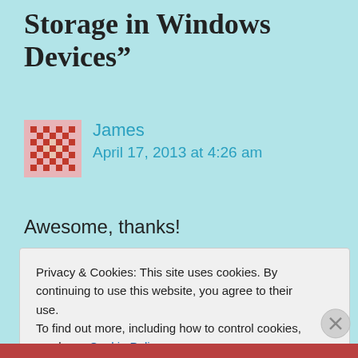Storage in Windows Devices”
[Figure (illustration): Red pixel/quilt pattern avatar icon for user James]
James
April 17, 2013 at 4:26 am
Awesome, thanks!
Reply
Privacy & Cookies: This site uses cookies. By continuing to use this website, you agree to their use.
To find out more, including how to control cookies, see here: Cookie Policy
Close and accept